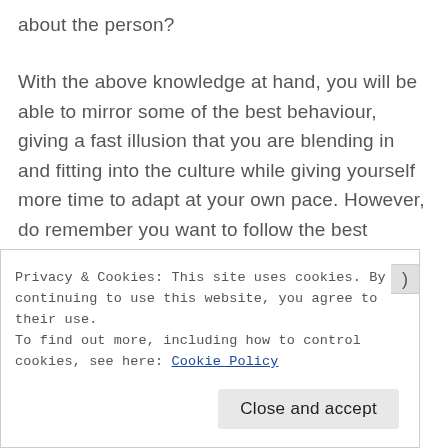about the person?
With the above knowledge at hand, you will be able to mirror some of the best behaviour, giving a fast illusion that you are blending in and fitting into the culture while giving yourself more time to adapt at your own pace. However, do remember you want to follow the best behaviour in the office and still be yourself.
So do you find the above article useful? If you do try
Privacy & Cookies: This site uses cookies. By continuing to use this website, you agree to their use.
To find out more, including how to control cookies, see here: Cookie Policy
Close and accept